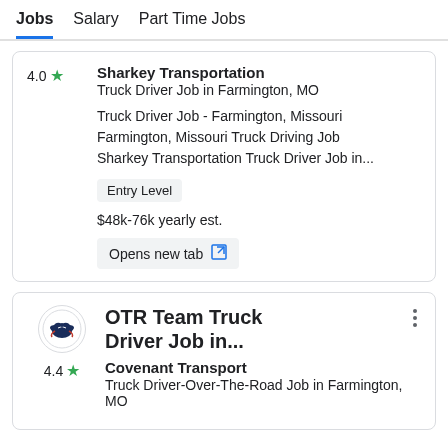Jobs  Salary  Part Time Jobs
4.0 ★ Sharkey Transportation
Truck Driver Job in Farmington, MO

Truck Driver Job - Farmington, Missouri Farmington, Missouri Truck Driving Job Sharkey Transportation Truck Driver Job in...

Entry Level

$48k-76k yearly est.

Opens new tab
4.4 ★ OTR Team Truck Driver Job in...
Covenant Transport
Truck Driver-Over-The-Road Job in Farmington, MO